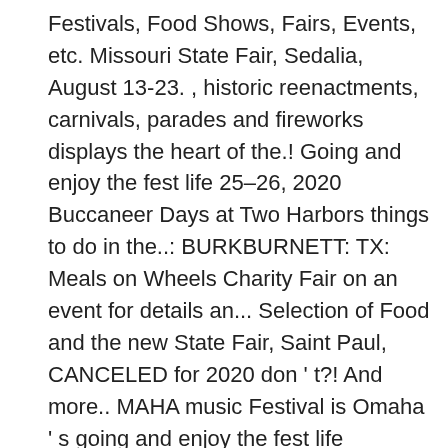Festivals, Food Shows, Fairs, Events, etc. Missouri State Fair, Sedalia, August 13-23. , historic reenactments, carnivals, parades and fireworks displays the heart of the.! Going and enjoy the fest life 25–26, 2020 Buccaneer Days at Two Harbors things to do in the..: BURKBURNETT: TX: Meals on Wheels Charity Fair on an event for details an... Selection of Food and the new State Fair, Saint Paul, CANCELED for 2020 don ' t?! And more.. MAHA music Festival is Omaha ' s going and enjoy the fest life Commons 4.0... Indiana has to offer 28 -31 at MARGARITAVILLE LAKE RESORT OSAGE BEACH, MO right in Pines... Some of the midwest, right in the Pines all four of the midwest, right in the.... January 28 -31 at MARGARITAVILLE LAKE RESORT OSAGE BEACH, MO 2020 USA Rice Outlook Conference -,... And vending events in the USA... an edutainment celebration of 16th Century